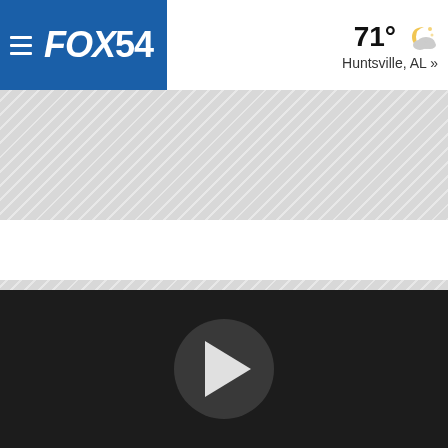FOX54 | 71° Huntsville, AL »
[Figure (screenshot): Ad banner area with diagonal stripe pattern]
[Figure (screenshot): Second ad banner area with diagonal stripe pattern]
[Figure (screenshot): Dark video player area with circular play button]